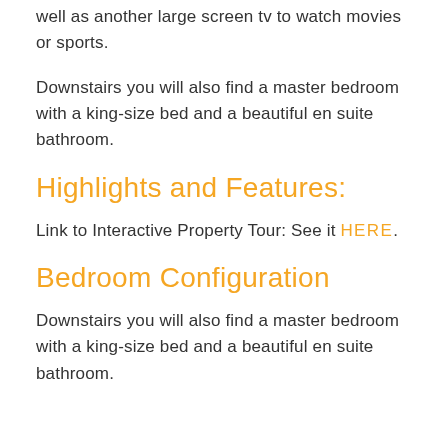well as another large screen tv to watch movies or sports.
Downstairs you will also find a master bedroom with a king-size bed and a beautiful en suite bathroom.
Highlights and Features:
Link to Interactive Property Tour: See it HERE.
Bedroom Configuration
Downstairs you will also find a master bedroom with a king-size bed and a beautiful en suite bathroom.